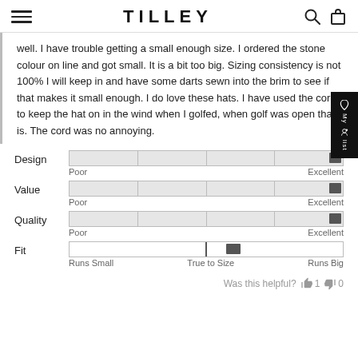TILLEY
well. I have trouble getting a small enough size. I ordered the stone colour on line and got small. It is a bit too big. Sizing consistency is not 100% I will keep in and have some darts sewn into the brim to see if that makes it small enough. I do love these hats. I have used the cord to keep the hat on in the wind when I golfed, when golf was open that is. The cord was no annoying.
[Figure (infographic): Four rating sliders: Design (near Excellent), Value (near Excellent), Quality (near Excellent), Fit (slightly past True to Size toward Runs Big). Each slider shows Poor/Excellent or Runs Small/True to Size/Runs Big labels.]
Was this helpful? 👍 1 👎 0